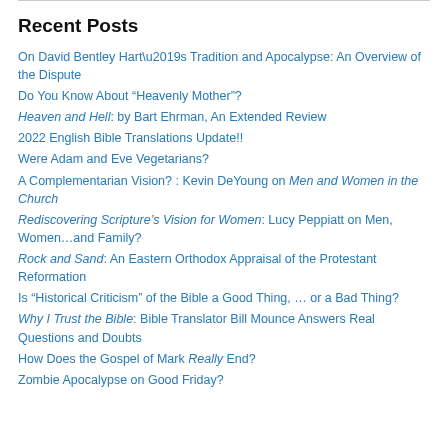Recent Posts
On David Bentley Hart's Tradition and Apocalypse: An Overview of the Dispute
Do You Know About “Heavenly Mother”?
Heaven and Hell: by Bart Ehrman, An Extended Review
2022 English Bible Translations Update!!
Were Adam and Eve Vegetarians?
A Complementarian Vision? : Kevin DeYoung on Men and Women in the Church
Rediscovering Scripture’s Vision for Women: Lucy Peppiatt on Men, Women…and Family?
Rock and Sand: An Eastern Orthodox Appraisal of the Protestant Reformation
Is “Historical Criticism” of the Bible a Good Thing, … or a Bad Thing?
Why I Trust the Bible: Bible Translator Bill Mounce Answers Real Questions and Doubts
How Does the Gospel of Mark Really End?
Zombie Apocalypse on Good Friday?